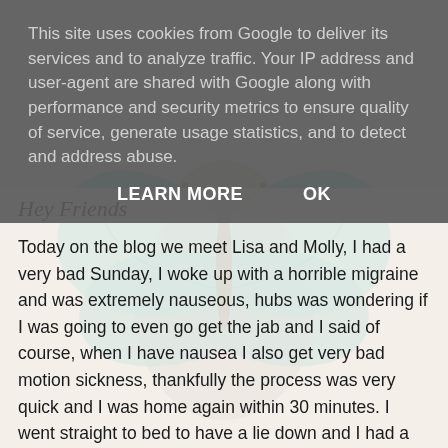This site uses cookies from Google to deliver its services and to analyze traffic. Your IP address and user-agent are shared with Google along with performance and security metrics to ensure quality of service, generate usage statistics, and to detect and address abuse.
LEARN MORE   OK
[Figure (illustration): Decorative butterfly illustration with teal/blue wings against a brown/grey silhouette background]
Hey Friends
Today on the blog we meet Lisa and Molly, I had a very bad Sunday, I woke up with a horrible migraine and was extremely nauseous, hubs was wondering if I was going to even go get the jab and I said of course, when I have nausea I also get very bad motion sickness, thankfully the process was very quick and I was home again within 30 minutes. I went straight to bed to have a lie down and I had a very good kitty nurse maid in the form of Ellie.
Available on USA website - Yes
Available on the UK website - Yes
Brush used - Original